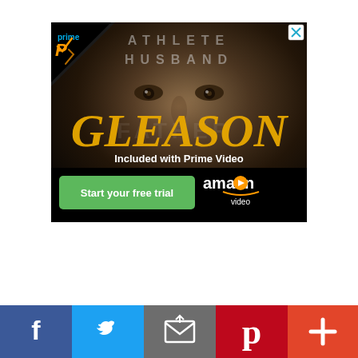[Figure (screenshot): Amazon Prime Video advertisement for the film 'Gleason' (subtitle: Athlete Husband). Shows a man's face in dark tones, yellow italic 'GLEASON' text, 'Included with Prime Video' text, a green 'Start your free trial' button, Amazon Video logo, and Amazon Prime badge in top-left corner with an X close button in top-right.]
[Figure (infographic): Social media sharing bar with five buttons: Facebook (blue), Twitter (light blue), Email (gray), Pinterest (red), and More/Plus (orange-red).]